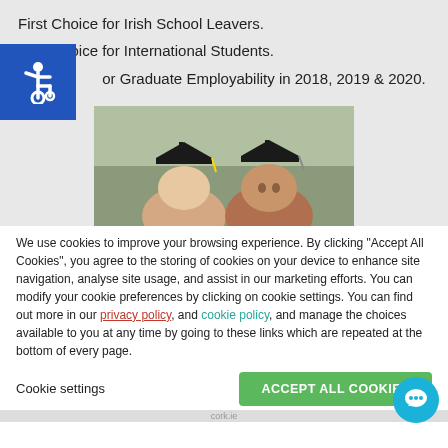First Choice for Irish School Leavers.
First Choice for International Students.
#1 for Graduate Employability in 2018, 2019 & 2020.
[Figure (photo): Two graduates wearing black mortarboard caps, cropped to show heads and hats against a blurred outdoor background.]
We use cookies to improve your browsing experience. By clicking “Accept All Cookies”, you agree to the storing of cookies on your device to enhance site navigation, analyse site usage, and assist in our marketing efforts. You can modify your cookie preferences by clicking on cookie settings. You can find out more in our privacy policy and cookie policy, and manage the choices available to you at any time by going to these links which are repeated at the bottom of every page.
Cookie settings
ACCEPT ALL COOKIES